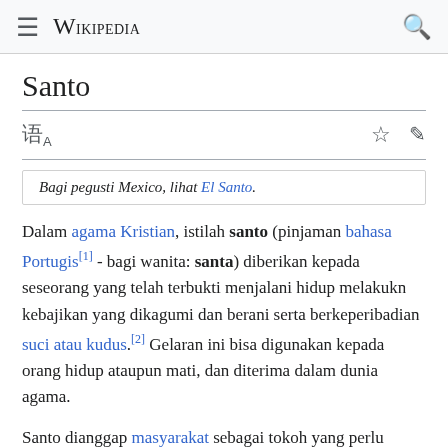Wikipedia
Santo
Bagi pegusti Mexico, lihat El Santo.
Dalam agama Kristian, istilah santo (pinjaman bahasa Portugis[1] - bagi wanita: santa) diberikan kepada seseorang yang telah terbukti menjalani hidup melakukn kebajikan yang dikagumi dan berani serta berkeperibadian suci atau kudus.[2] Gelaran ini bisa digunakan kepada orang hidup ataupun mati, dan diterima dalam dunia agama.
Santo dianggap masyarakat sebagai tokoh yang perlu dicontoh gaya hidup atau sikapnya baik kepada generasi